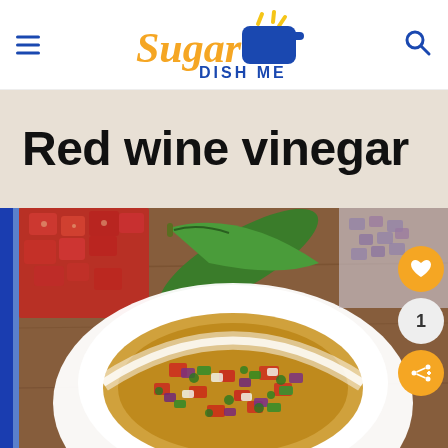Sugar Dish Me
Red wine vinegar
[Figure (photo): A white bowl filled with pico de gallo salsa featuring diced tomatoes, red onion, jalapeño, and cilantro in a red wine vinegar dressing, with a whole jalapeño and chopped onion visible in the background on a wooden surface.]